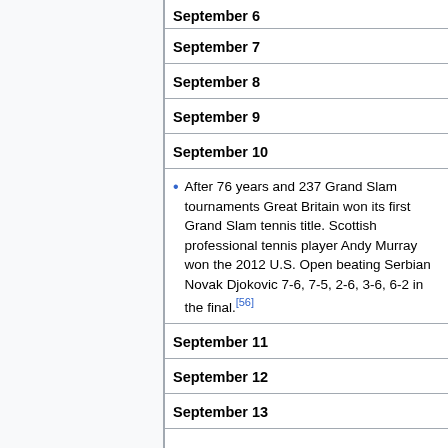September 6
September 7
September 8
September 9
September 10
After 76 years and 237 Grand Slam tournaments Great Britain won its first Grand Slam tennis title. Scottish professional tennis player Andy Murray won the 2012 U.S. Open beating Serbian Novak Djokovic 7-6, 7-5, 2-6, 3-6, 6-2 in the final.[56]
September 11
September 12
September 13